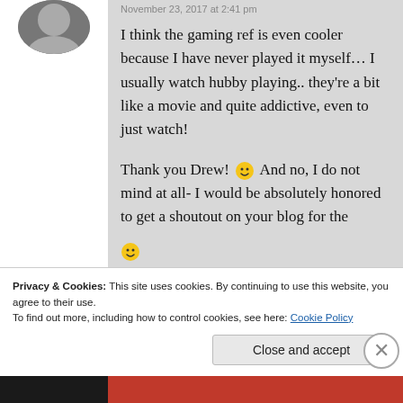November 23, 2017 at 2:41 pm
I think the gaming ref is even cooler because I have never played it myself… I usually watch hubby playing.. they're a bit like a movie and quite addictive, even to just watch!
Thank you Drew! 🙂 And no, I do not mind at all- I would be absolutely honored to get a shoutout on your blog for the
Privacy & Cookies: This site uses cookies. By continuing to use this website, you agree to their use.
To find out more, including how to control cookies, see here: Cookie Policy
Close and accept